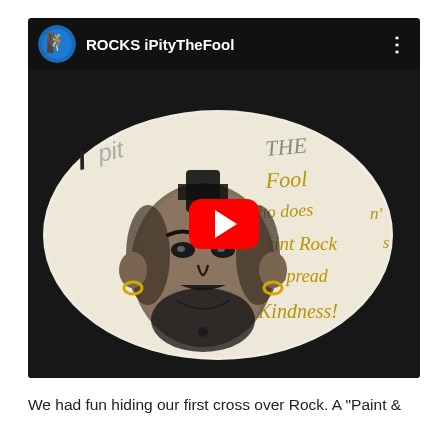[Figure (screenshot): YouTube video thumbnail showing a painted rock with Mr. T portrait and the text 'I Pity The Fool who doesn't Paint Rocks and Spread Kindness!' written in gold/black paint. The video player shows the YouTube top bar with a channel icon, title 'ROCKS iPityTheFool', a three-dot menu icon, and a red play button overlay in the center.]
We had fun hiding our first cross over Rock. A "Paint &